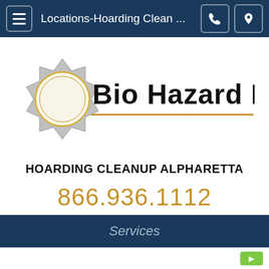Locations-Hoarding Clean ...
[Figure (logo): Bio Hazard Plus logo with silver star/badge shape on the left and bold dark text 'Bio Hazard Plus' with a gold underline]
HOARDING CLEANUP ALPHARETTA
866.936.1112
(24/7 Consultation)
Services